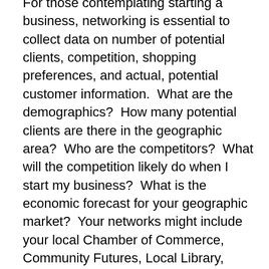For those contemplating starting a business, networking is essential to collect data on number of potential clients, competition, shopping preferences, and actual, potential customer information.  What are the demographics?  How many potential clients are there in the geographic area?  Who are the competitors?  What will the competition likely do when I start my business?  What is the economic forecast for your geographic market?  Your networks might include your local Chamber of Commerce, Community Futures, Local Library, Municipal or Regional District Office, Provincial or Federal offices for small business information and regulations.
If you are unemployed and searching for employment, your first stop is your local WorkBC Employment Centre.  There you will find assistance with all of your job search needs.  You may qualify for some of the programs such as